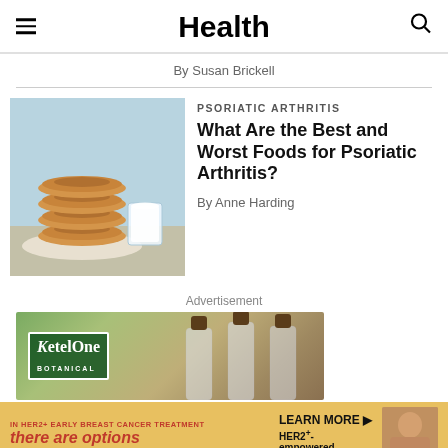Health
By Susan Brickell
PSORIATIC ARTHRITIS
What Are the Best and Worst Foods for Psoriatic Arthritis?
By Anne Harding
[Figure (photo): Photo of stacked donuts on a plate next to a glass of milk on a light blue background]
Advertisement
[Figure (photo): Ketel One Botanical advertisement showing three bottles against a blurred outdoor background]
[Figure (photo): HER2+ early breast cancer treatment advertisement: 'IN HER2+ EARLY BREAST CANCER TREATMENT there are options LEARN MORE HER2+ empowered. Actor portrayed.']